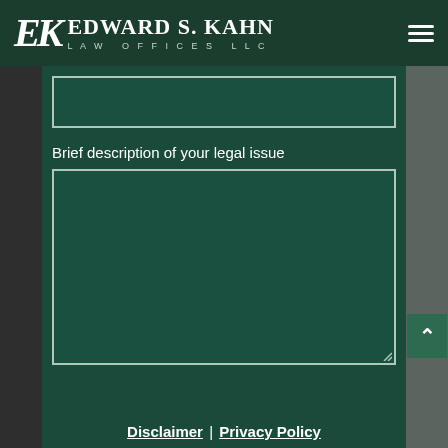EDWARD S. KAHN LAW OFFICES LLC
Brief description of your legal issue
Disclaimer | Privacy Policy